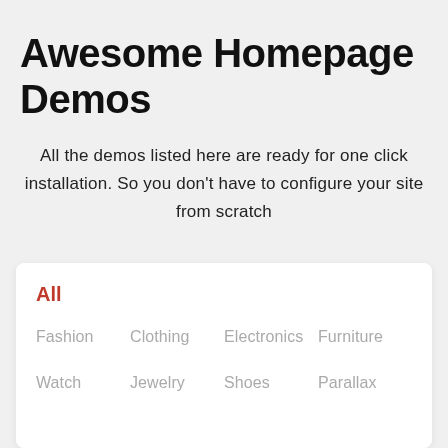Awesome Homepage Demos
All the demos listed here are ready for one click installation. So you don't have to configure your site from scratch
All
Fashion
Clothing
Electronics
Furniture
Watch
Jewelry
Shoes
Parallax